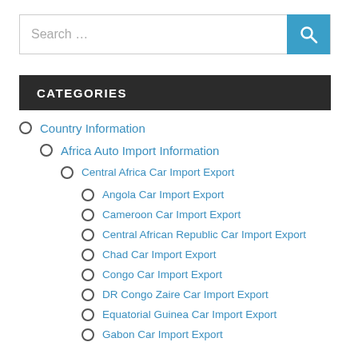[Figure (other): Search bar with text input and blue search button with magnifying glass icon]
CATEGORIES
Country Information
Africa Auto Import Information
Central Africa Car Import Export
Angola Car Import Export
Cameroon Car Import Export
Central African Republic Car Import Export
Chad Car Import Export
Congo Car Import Export
DR Congo Zaire Car Import Export
Equatorial Guinea Car Import Export
Gabon Car Import Export